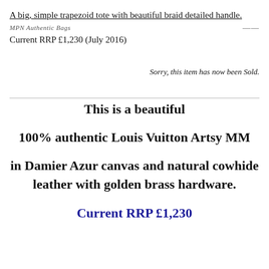A big, simple trapezoid tote with beautiful braid detailed handle.
MPN Authentic Bags
Current RRP £1,230 (July 2016)
Sorry, this item has now been Sold.
This is a beautiful
100% authentic Louis Vuitton Artsy MM
in Damier Azur canvas and natural cowhide leather with golden brass hardware.
Current RRP £1,230